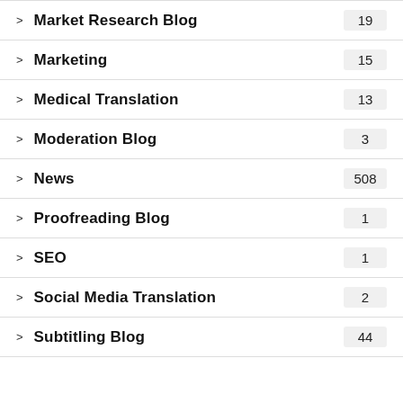Market Research Blog
Marketing
Medical Translation
Moderation Blog
News
Proofreading Blog
SEO
Social Media Translation
Subtitling Blog